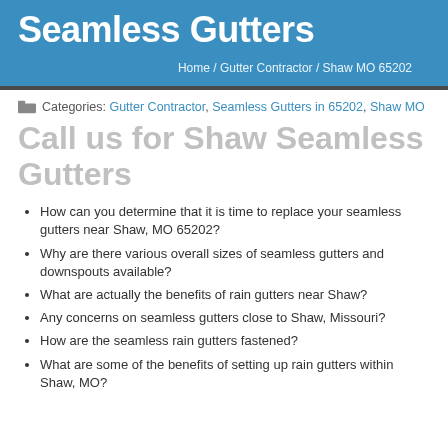Seamless Gutters
Home / Gutter Contractor / Shaw MO 65202
Categories: Gutter Contractor, Seamless Gutters in 65202, Shaw MO
Call us for Shaw Seamless Gutters
How can you determine that it is time to replace your seamless gutters near Shaw, MO 65202?
Why are there various overall sizes of seamless gutters and downspouts available?
What are actually the benefits of rain gutters near Shaw?
Any concerns on seamless gutters close to Shaw, Missouri?
How are the seamless rain gutters fastened?
What are some of the benefits of setting up rain gutters within Shaw, MO?